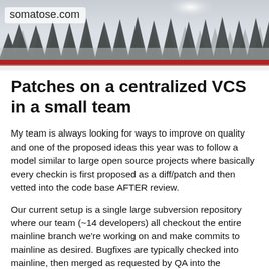[Figure (photo): Website header banner showing a misty forest landscape with tall evergreen trees against a pale grey sky]
somatose.com
Patches on a centralized VCS in a small team
My team is always looking for ways to improve on quality and one of the proposed ideas this year was to follow a model similar to large open source projects where basically every checkin is first proposed as a diff/patch and then vetted into the code base AFTER review.
Our current setup is a single large subversion repository where our team (~14 developers) all checkout the entire mainline branch we're working on and make commits to mainline as desired. Bugfixes are typically checked into mainline, then merged as requested by QA into the appropriate build. Once checked in the bug is updated in our